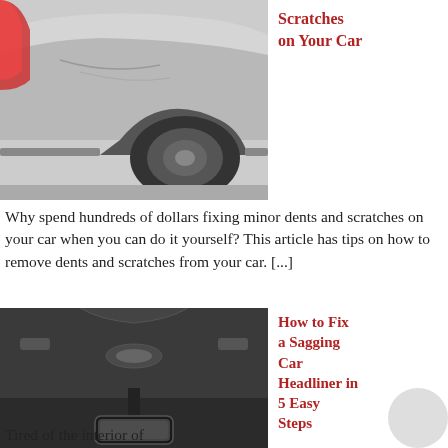[Figure (photo): Close-up photo of a scratched silver car rear quarter panel and wheel]
Scratches on Your Car
Why spend hundreds of dollars fixing minor dents and scratches on your car when you can do it yourself? This article has tips on how to remove dents and scratches from your car. [...]
[Figure (photo): Photo of a car interior headliner viewed from below, with a rearview mirror visible]
How to Fix a Sagging Car Headliner in 5 Easy Steps
Tired of the interior of